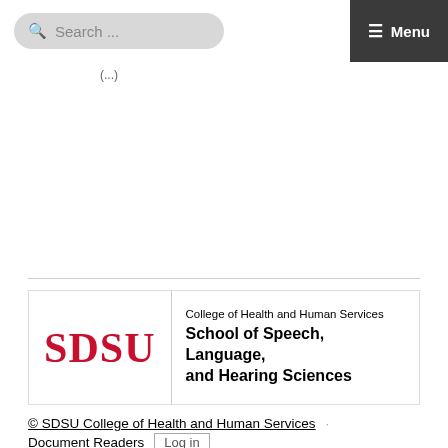Search ... ☰ Menu
(...)
[Figure (logo): SDSU logo with red SDSU text and vertical divider, followed by College of Health and Human Services / School of Speech, Language, and Hearing Sciences]
© SDSU College of Health and Human Services · Document Readers Log in